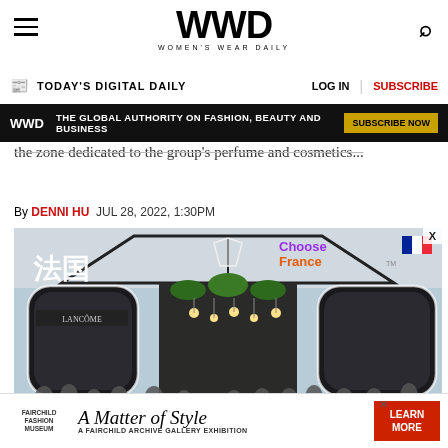WWD WOMEN'S WEAR DAILY
TODAY'S DIGITAL DAILY | LOG IN | SUBSCRIBE
THE GLOBAL AUTHORITY ON FASHION, BEAUTY AND BUSINESS  SUBSCRIBE NOW
the zone dedicated to the group's perfume and cosmetics...
By DENNI HU  JUL 28, 2022, 1:30PM
[Figure (photo): Crowded exhibition hall with French branding (法国), Choose France signage, Lancome signage, people wearing masks walking through a modern retail/expo space with arched entrances and greenery overhead.]
[Figure (photo): Fairchild Fashion Museum advertisement: A Matter of Style – A Fairchild Archive Gallery Exhibition. Learn More button.]